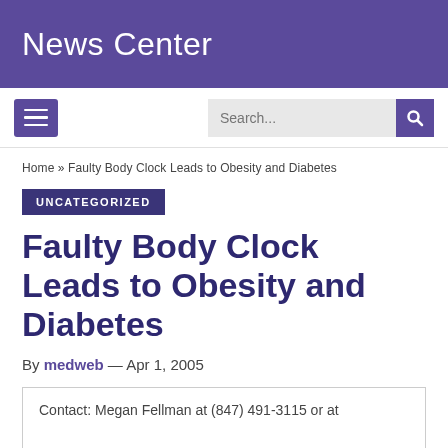News Center
Home » Faulty Body Clock Leads to Obesity and Diabetes
UNCATEGORIZED
Faulty Body Clock Leads to Obesity and Diabetes
By medweb — Apr 1, 2005
Contact: Megan Fellman at (847) 491-3115 or at